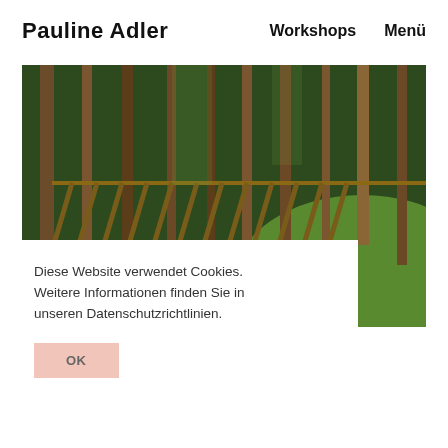Pauline Adler    Workshops    Menü
[Figure (photo): Forest scene with wooden pole structure / fence diagonal across a green hillside with tall trees]
Diese Website verwendet Cookies. Weitere Informationen finden Sie in unseren Datenschutzrichtlinien.
OK